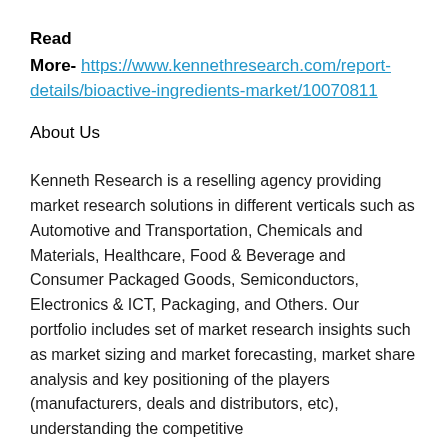Read
More- https://www.kennethresearch.com/report-details/bioactive-ingredients-market/10070811
About Us
Kenneth Research is a reselling agency providing market research solutions in different verticals such as Automotive and Transportation, Chemicals and Materials, Healthcare, Food & Beverage and Consumer Packaged Goods, Semiconductors, Electronics & ICT, Packaging, and Others. Our portfolio includes set of market research insights such as market sizing and market forecasting, market share analysis and key positioning of the players (manufacturers, deals and distributors, etc), understanding the competitive